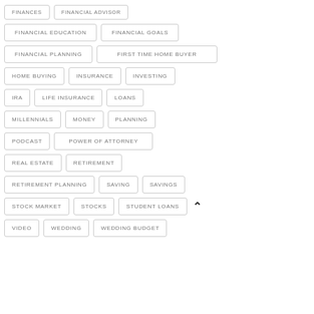FINANCES
FINANCIAL ADVISOR
FINANCIAL EDUCATION
FINANCIAL GOALS
FINANCIAL PLANNING
FIRST TIME HOME BUYER
HOME BUYING
INSURANCE
INVESTING
IRA
LIFE INSURANCE
LOANS
MILLENNIALS
MONEY
PLANNING
PODCAST
POWER OF ATTORNEY
REAL ESTATE
RETIREMENT
RETIREMENT PLANNING
SAVING
SAVINGS
STOCK MARKET
STOCKS
STUDENT LOANS
VIDEO
WEDDING
WEDDING BUDGET